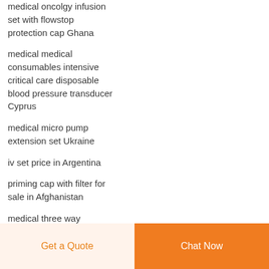medical oncolgy infusion set with flowstop protection cap Ghana
medical medical consumables intensive critical care disposable blood pressure transducer Cyprus
medical micro pump extension set Ukraine
iv set price in Argentina
priming cap with filter for sale in Afghanistan
medical three way stopcock hospital using